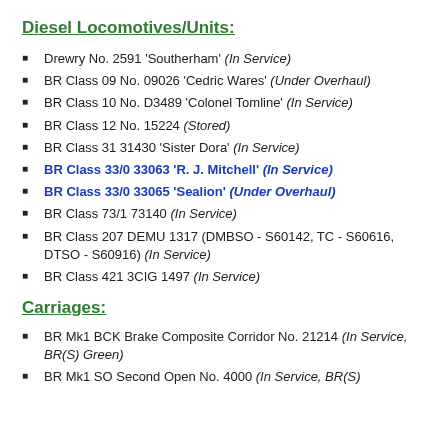Diesel Locomotives/Units:
Drewry No. 2591 'Southerham' (In Service)
BR Class 09 No. 09026 'Cedric Wares' (Under Overhaul)
BR Class 10 No. D3489 'Colonel Tomline' (In Service)
BR Class 12 No. 15224 (Stored)
BR Class 31 31430 'Sister Dora' (In Service)
BR Class 33/0 33063 'R. J. Mitchell' (In Service)
BR Class 33/0 33065 'Sealion' (Under Overhaul)
BR Class 73/1 73140 (In Service)
BR Class 207 DEMU 1317 (DMBSO - S60142, TC - S60616, DTSO - S60916) (In Service)
BR Class 421 3CIG 1497 (In Service)
Carriages:
BR Mk1 BCK Brake Composite Corridor No. 21214 (In Service, BR(S) Green)
BR Mk1 SO Second Open No. 4000 (In Service, BR(S)...